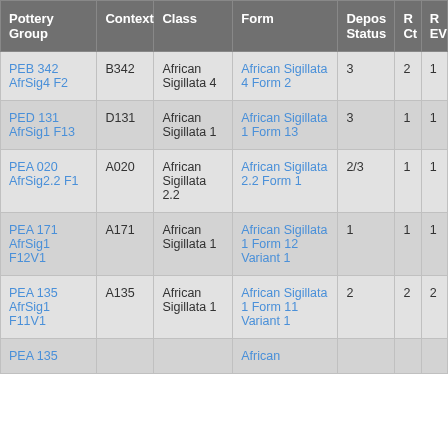| Pottery Group | Context | Class | Form | Depos Status | R Ct | R EV |
| --- | --- | --- | --- | --- | --- | --- |
| PEB 342 AfrSig4 F2 | B342 | African Sigillata 4 | African Sigillata 4 Form 2 | 3 | 2 | 1 |
| PED 131 AfrSig1 F13 | D131 | African Sigillata 1 | African Sigillata 1 Form 13 | 3 | 1 | 1 |
| PEA 020 AfrSig2.2 F1 | A020 | African Sigillata 2.2 | African Sigillata 2.2 Form 1 | 2/3 | 1 | 1 |
| PEA 171 AfrSig1 F12V1 | A171 | African Sigillata 1 | African Sigillata 1 Form 12 Variant 1 | 1 | 1 | 1 |
| PEA 135 AfrSig1 F11V1 | A135 | African Sigillata 1 | African Sigillata 1 Form 11 Variant 1 | 2 | 2 | 2 |
| PEA 135 |  |  | African |  |  |  |